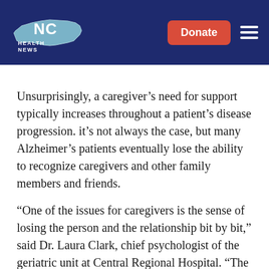NC Health News
Unsurprisingly, a caregiver’s need for support typically increases throughout a patient’s disease progression. it’s not always the case, but many Alzheimer’s patients eventually lose the ability to recognize caregivers and other family members and friends.
“One of the issues for caregivers is the sense of losing the person and the relationship bit by bit,” said Dr. Laura Clark, chief psychologist of the geriatric unit at Central Regional Hospital. “The person is still there. They still need love and attention, but they’re not who they were before. There can be a lot of anticipatory